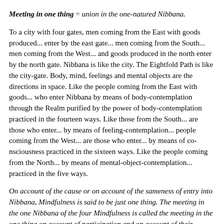Meeting in one thing = union in the one-natured Nibbana.
To a city with four gates, men coming from the East with goods produced in the east enter by the east gate... men coming from the South... men coming from the West... and goods produced in the north enter by the north gate. Nibbana is like the city. The Eightfold Path is like the city-gate. Body, mind, feelings and mental objects are the directions in space. Like the people coming from the East with goods from the East are those who enter Nibbana by means of body-contemplation through the Realm purified by the power of body-contemplation practiced in the fourteen ways. Like the people from the South... are those who enter... by means of feeling-contemplation... people coming from the West... are those who enter... by means of consciousness practiced in the sixteen ways. Like the people coming from the North... by means of mental-object-contemplation... practiced in the five ways.
On account of the cause or on account of the sameness of entry into the goal, Mindfulness is said to be just one thing. The meeting in the one Nibbana of the four Mindfulness is called the meeting in the one thing on account of participation and on account of their becoming all of a kind.
Katame cattaro = "What are the four?" This is a question indicating the four.
Idha = "Here." In this Dispensation.
Bhikkhavo = "Bhikkhus." This is a term for addressing persons who...